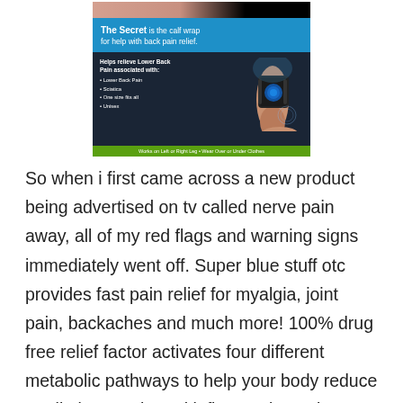[Figure (illustration): Advertisement image for a calf wrap product for back pain relief. Shows a leg wearing a knee/calf brace on dark background. Blue banner reads: 'The Secret is the calf wrap for help with back pain relief.' Body text lists: 'Helps relieve Lower Back Pain associated with: Lower Back Pain, Sciatica, One size fits all, Unisex'. Green footer bar: 'Works on Left or Right Leg • Wear Over or Under Clothes']
So when i first came across a new product being advertised on tv called nerve pain away, all of my red flags and warning signs immediately went off. Super blue stuff otc provides fast pain relief for myalgia, joint pain, backaches and much more! 100% drug free relief factor activates four different metabolic pathways to help your body reduce or eliminate pain and inflammation. It is a potent recipe that may benefit those looking to reduce